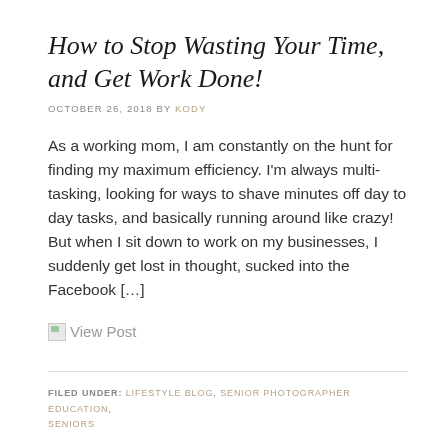How to Stop Wasting Your Time, and Get Work Done!
OCTOBER 26, 2018 BY KODY
As a working mom, I am constantly on the hunt for finding my maximum efficiency. I'm always multi-tasking, looking for ways to shave minutes off day to day tasks, and basically running around like crazy! But when I sit down to work on my businesses, I suddenly get lost in thought, sucked into the Facebook […]
View Post
FILED UNDER: LIFESTYLE BLOG, SENIOR PHOTOGRAPHER EDUCATION, SENIORS